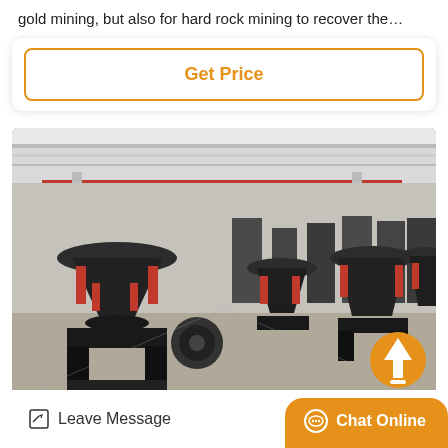gold mining, but also for hard rock mining to recover the…
Get Price
[Figure (photo): Interior of a large industrial factory/warehouse showing rows of heavy mining machinery (cone crushers) in black and red, with overhead red crane beams and a high ceiling with skylights. A scroll-up button (orange circle with white arrow) is visible in the lower-right corner of the image.]
Leave Message
Chat Online